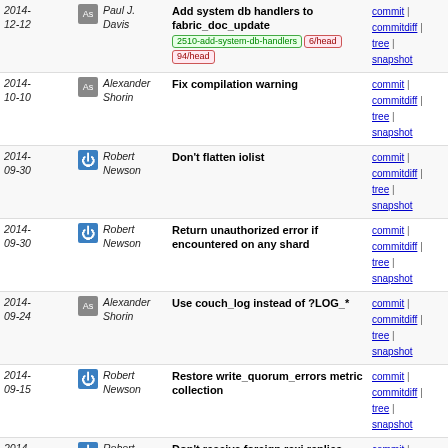| Date | Author | Message | Links |
| --- | --- | --- | --- |
| 2014-12-12 | Paul J. Davis | Add system db handlers to fabric_doc_update [2510-add-system-db-handlers] [6/head] [94/head] | commit | commitdiff | tree | snapshot |
| 2014-10-10 | Alexander Shorin | Fix compilation warning | commit | commitdiff | tree | snapshot |
| 2014-09-30 | Robert Newson | Don't flatten iolist | commit | commitdiff | tree | snapshot |
| 2014-09-30 | Robert Newson | Return unauthorized error if encountered on any shard | commit | commitdiff | tree | snapshot |
| 2014-09-24 | Alexander Shorin | Use couch_log instead of ?LOG_* | commit | commitdiff | tree | snapshot |
| 2014-09-15 | Robert Newson | Restore write_quorum_errors metric collection | commit | commitdiff | tree | snapshot |
| 2014-09-12 | Robert Newson | Don't receive foreign rexi replies | commit | commitdiff | tree | snapshot |
| 2014-09-10 | Mike Wallace | Teach fabric_util:get_db/2 about maintenance mode [2325-teach-fabric-get_db-about-maintenance-mode] | commit | commitdiff | tree | snapshot |
| 2014-09-10 | Mike Wallace | Move maintenance_mode to the couchdb section | commit | commitdiff | tree | snapshot |
| 2014-09-09 | Paul J. Davis | Allow clients to pass a db record to query_view | commit | commitdiff | tree | snapshot |